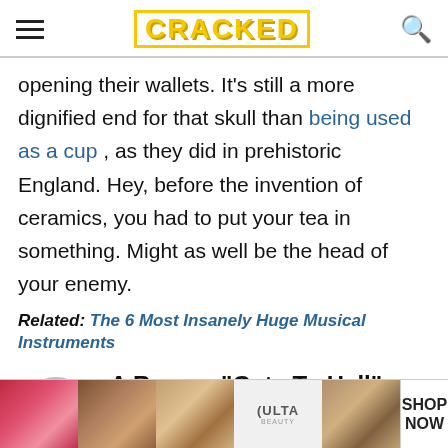CRACKED
opening their wallets. It's still a more dignified end for that skull than being used as a cup , as they did in prehistoric England. Hey, before the invention of ceramics, you had to put your tea in something. Might as well be the head of your enemy.
Related: The 6 Most Insanely Huge Musical Instruments
1 A Roman "Gate To Hell" Killed Any Animal That Crossed It
Proving that even tourist attractions were more
[Figure (photo): ULTA beauty advertisement banner with images of lips with makeup, a makeup brush, eyes with makeup, ULTA logo, and a SHOP NOW button]